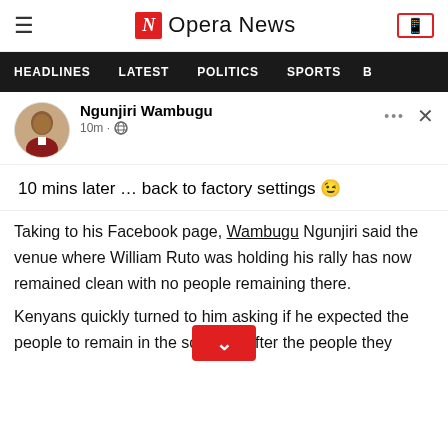Opera News
HEADLINES | LATEST | POLITICS | SPORTS
Ngunjiri Wambugu
10m · 🌐
10 mins later … back to factory settings 😉
Taking to his Facebook page, Wambugu Ngunjiri said the venue where William Ruto was holding his rally has now remained clean with no people remaining there.
Kenyans quickly turned to him asking if he expected the people to remain in the scene even after the people they